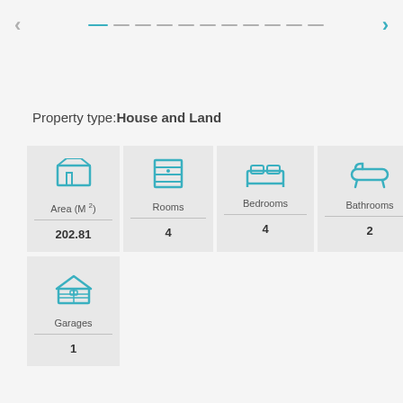Property type: House and Land
[Figure (infographic): Property features infographic showing: Area (M2) = 202.81, Rooms = 4, Bedrooms = 4, Bathrooms = 2, Garages = 1, each with a teal icon in a grey cell]
Area (M 2): 202.81
Rooms: 4
Bedrooms: 4
Bathrooms: 2
Garages: 1